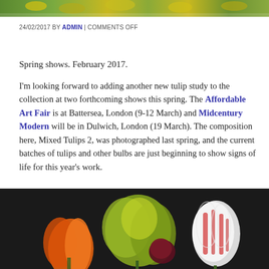[Figure (photo): Top strip of a photo showing yellow flowers against a green background]
24/02/2017 BY ADMIN | COMMENTS OFF
Spring shows. February 2017.
I'm looking forward to adding another new tulip study to the collection at two forthcoming shows this spring. The Affordable Art Fair is at Battersea, London (9-12 March) and Midcentury Modern will be in Dulwich, London (19 March). The composition here, Mixed Tulips 2, was photographed last spring, and the current batches of tulips and other bulbs are just beginning to show signs of life for this year's work.
[Figure (photo): Photo of mixed tulips arrangement including orange tulip, dark red flower, yellow-green foliage, and a striped red/white tulip against a dark background]